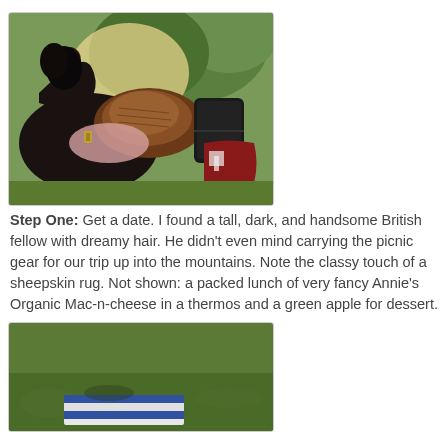[Figure (photo): Close-up of a horse with a saddle, sheepskin rug, and a black bag attached, outdoors with trees in background]
Step One: Get a date. I found a tall, dark, and handsome British fellow with dreamy hair. He didn't even mind carrying the picnic gear for our trip up into the mountains. Note the classy touch of a sheepskin rug. Not shown: a packed lunch of very fancy Annie's Organic Mac-n-cheese in a thermos and a green apple for dessert.
[Figure (photo): Green grass with partial view of picnic items including what appears to be a striped item on the ground]